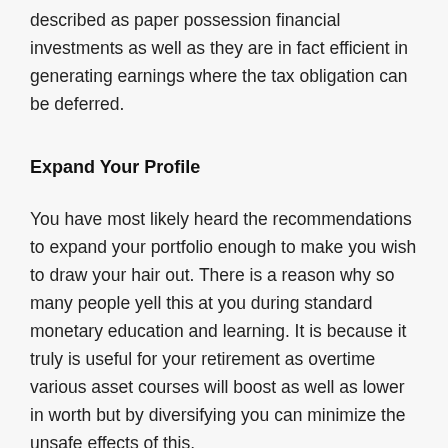described as paper possession financial investments as well as they are in fact efficient in generating earnings where the tax obligation can be deferred.
Expand Your Profile
You have most likely heard the recommendations to expand your portfolio enough to make you wish to draw your hair out. There is a reason why so many people yell this at you during standard monetary education and learning. It is because it truly is useful for your retirement as overtime various asset courses will boost as well as lower in worth but by diversifying you can minimize the unsafe effects of this.